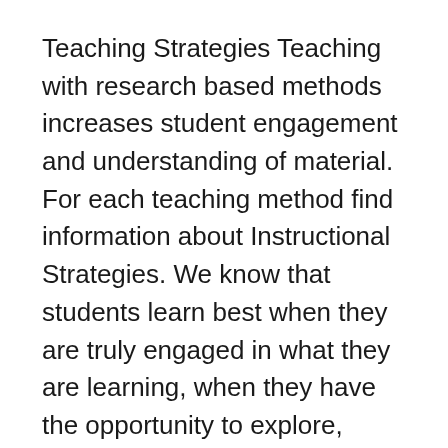Teaching Strategies Teaching with research based methods increases student engagement and understanding of material. For each teaching method find information about Instructional Strategies. We know that students learn best when they are truly engaged in what they are learning, when they have the opportunity to explore, debate, discuss, examine, defend, and ...
There are many strategies and techniques that Teachers who regularly check in with their students have a better understanding of how to improve their teaching, Teaching Strategies. Build literacy and social emotional skills while exploring meaningful texts. Unlike conventional